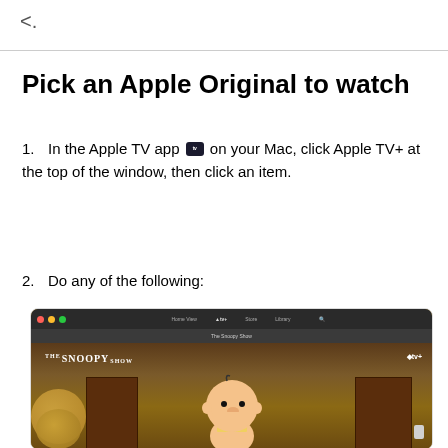<.
Pick an Apple Original to watch
1. In the Apple TV app [icon] on your Mac, click Apple TV+ at the top of the window, then click an item.
2. Do any of the following:
[Figure (screenshot): Screenshot of Apple TV app on Mac showing The Snoopy Show with Charlie Brown character visible, Apple TV+ badge in top right, macOS window chrome with red/yellow/green dots at top left.]